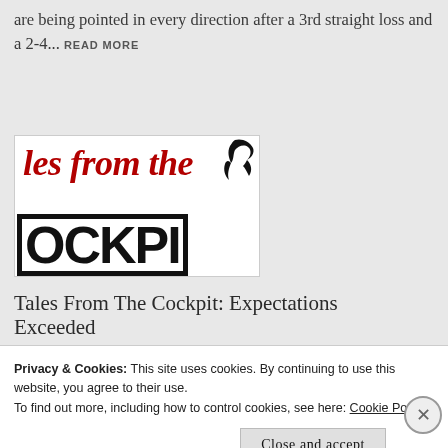are being pointed in every direction after a 3rd straight loss and a 2-4... READ MORE
[Figure (logo): Tales From The Cockpit logo — red italic script 'les from the' on top with a rooster silhouette, large bold black block letters 'OCKPI' on bottom with heavy border]
Tales From The Cockpit: Expectations Exceeded
Privacy & Cookies: This site uses cookies. By continuing to use this website, you agree to their use.
To find out more, including how to control cookies, see here: Cookie Policy
Close and accept